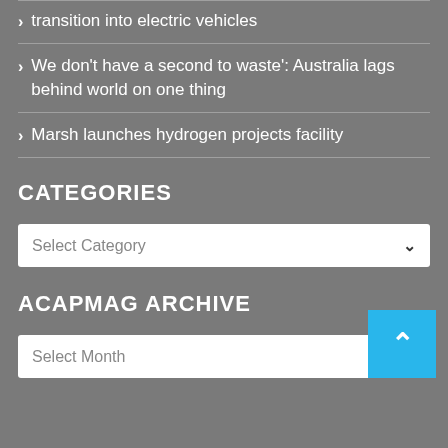transition into electric vehicles
We don't have a second to waste': Australia lags behind world on one thing
Marsh launches hydrogen projects facility
CATEGORIES
Select Category
ACAPMAg ARCHIVE
Select Month